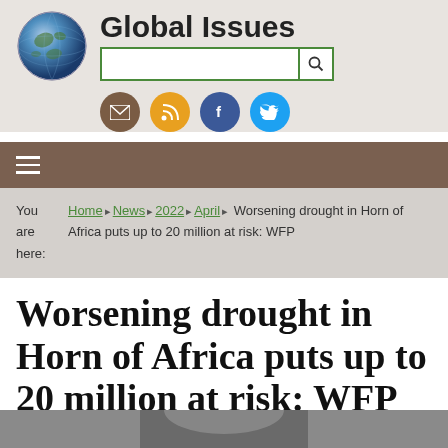Global Issues
[Figure (logo): Globe icon for Global Issues website]
[Figure (infographic): Social media icons: email (brown), RSS (orange/yellow), Facebook (blue), Twitter (cyan)]
≡ (hamburger navigation menu)
You are here: Home ▶ News ▶ 2022 ▶ April ▶ Worsening drought in Horn of Africa puts up to 20 million at risk: WFP
Worsening drought in Horn of Africa puts up to 20 million at risk: WFP
[Figure (photo): Partial photo at bottom of page, appears to show a person]